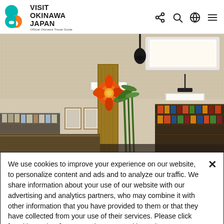VISIT OKINAWA JAPAN - Official Okinawa Travel Guide
[Figure (photo): Interior of a shop/store in Okinawa, with ceiling lights, a decorative orange flower art piece on a wooden column, shelves with products, and hanging pendant lights.]
We use cookies to improve your experience on our website, to personalize content and ads and to analyze our traffic. We share information about your use of our website with our advertising and analytics partners, who may combine it with other information that you have provided to them or that they have collected from your use of their services. Please click [Cookie Settings] to customize your cookie settings on our website.  Privacy Policy